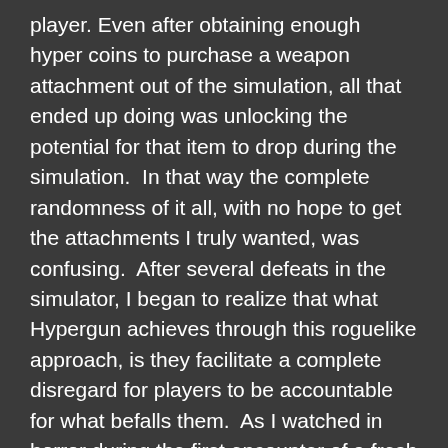player. Even after obtaining enough hyper coins to purchase a weapon attachment out of the simulation, all that ended up doing was unlocking the potential for that item to drop during the simulation.  In that way the complete randomness of it all, with no hope to get the attachments I truly wanted, was confusing.  After several defeats in the simulator, I began to realize that what Hypergun achieves through this roguelike approach, is they facilitate a complete disregard for players to be accountable for what befalls them.  As I watched in horror during the first encounter of a fresh simulation, two large aliens with shields appeared and proceeded to bum rush me in a very poorly laid out room, it dawned on me after defeating them that the elation I felt was due to overcoming such painstaking obstacles.